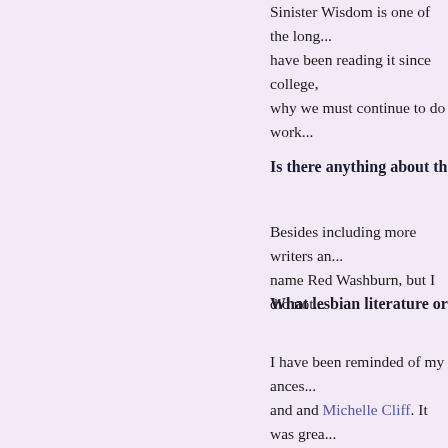Sinister Wisdom is one of the long... have been reading it since college, why we must continue to do work...
Is there anything about the issue
Besides including more writers an... name Red Washburn, but I did not...
What lesbian literature or creati
I have been reminded of my ances... and and Michelle Cliff. It was grea... piece honoring the life and work o... stimulated working with the other... Clarke, JP Howard, and Tara Shea... exist without her untiring devotio...
Tags:
editor interviews   red washburn   sini
Image:
[Figure (photo): Black and white photograph partially visible at bottom of page]